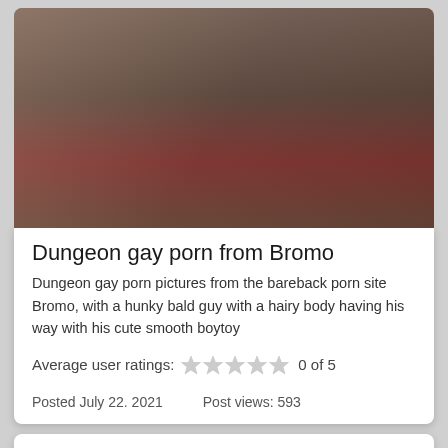[Figure (photo): Adult content photo showing two men on a red surface]
Dungeon gay porn from Bromo
Dungeon gay porn pictures from the bareback porn site Bromo, with a hunky bald guy with a hairy body having his way with his cute smooth boytoy
Average user ratings: 0 of 5
Posted July 22. 2021    Post views: 593